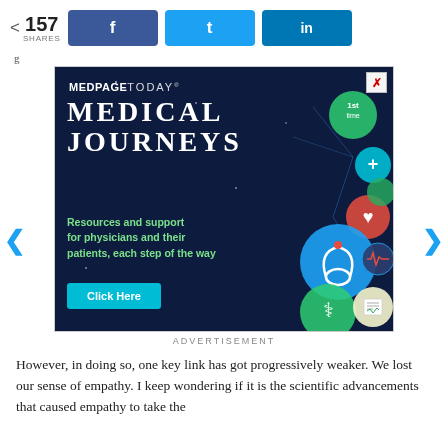157 SHARES
[Figure (screenshot): MedPage Today Medical Journeys advertisement banner with dark navy background, showing 'MEDICAL JOURNEYS' heading, subtitle 'Resources and support for physicians and their patients, each step of the way', and a 'Click Here' button. Decorative medical icons (stethoscope, DNA, heart, etc.) shown on the right side.]
ADVERTISEMENT
However, in doing so, one key link has got progressively weaker. We lost our sense of empathy. I keep wondering if it is the scientific advancements that caused empathy to take the